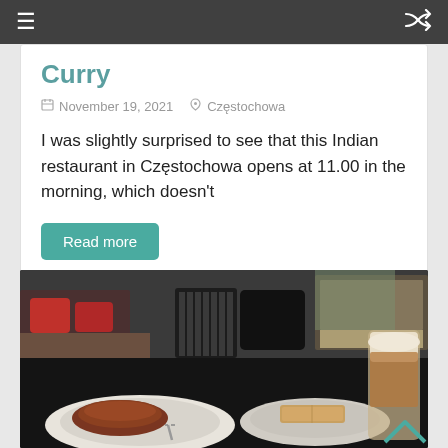Navigation bar with menu and shuffle icons
Curry
November 19, 2021  Częstochowa
I was slightly surprised to see that this Indian restaurant in Częstochowa opens at 11.00 in the morning, which doesn't
Read more
[Figure (photo): Café table scene with two plates of dessert, a tall latte in a glass, and a napkin holder in the background. Interior shows red chairs and large windows with a display counter visible.]